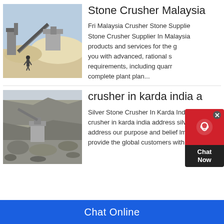[Figure (photo): Outdoor industrial stone crusher plant with machinery and a person standing in front, light blue sky background]
Stone Crusher Malaysia
Fri Malaysia Crusher Stone Supplier Stone Crusher Supplier In Malaysia products and services for the g you with advanced, rational s requirements, including quarr complete plant plan...
[Figure (photo): Outdoor stone crusher operation in India with rocky terrain, machinery and debris]
crusher in karda india a
Silver Stone Crusher In Karda India crusher in karda india address silve address our purpose and belief lm h provide the global customers with th
Chat Online